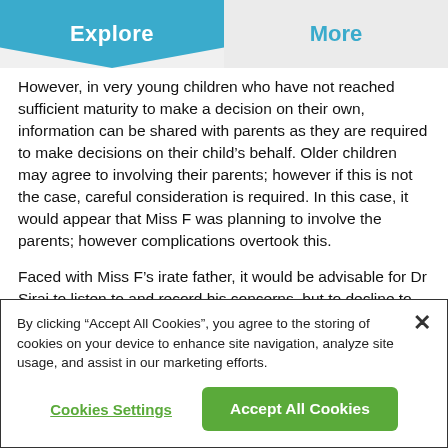Explore | More
However, in very young children who have not reached sufficient maturity to make a decision on their own, information can be shared with parents as they are required to make decisions on their child’s behalf. Older children may agree to involving their parents; however if this is not the case, careful consideration is required. In this case, it would appear that Miss F was planning to involve the parents; however complications overtook this.
Faced with Miss F’s irate father, it would be advisable for Dr Siraj to listen to and record his concerns, but to decline to impart any of Miss F’s confidential information until such time as
By clicking “Accept All Cookies”, you agree to the storing of cookies on your device to enhance site navigation, analyze site usage, and assist in our marketing efforts.
Cookies Settings
Accept All Cookies